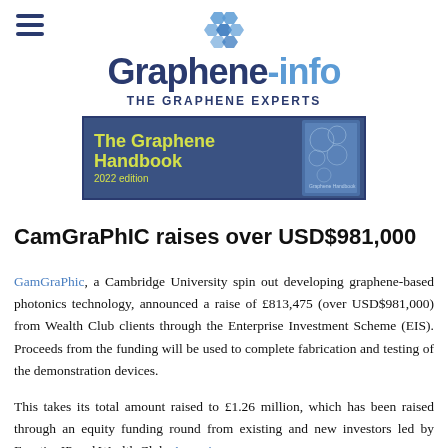Graphene-info | THE GRAPHENE EXPERTS
[Figure (illustration): The Graphene Handbook 2022 edition banner advertisement with book cover image on blue background]
CamGraPhIC raises over USD$981,000
GamGraPhic, a Cambridge University spin out developing graphene-based photonics technology, announced a raise of £813,475 (over USD$981,000) from Wealth Club clients through the Enterprise Investment Scheme (EIS). Proceeds from the funding will be used to complete fabrication and testing of the demonstration devices.
This takes its total amount raised to £1.26 million, which has been raised through an equity funding round from existing and new investors led by Frontier IP and Wealth Club. A previous